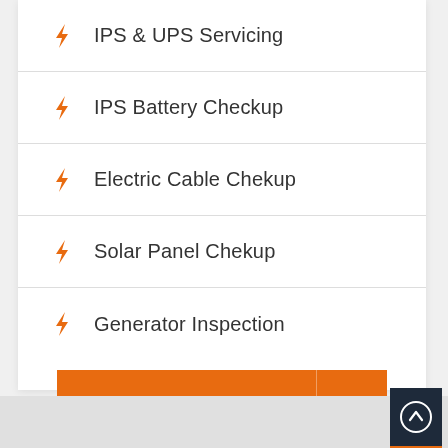IPS & UPS Servicing
IPS Battery Checkup
Electric Cable Chekup
Solar Panel Chekup
Generator Inspection
Get Started →